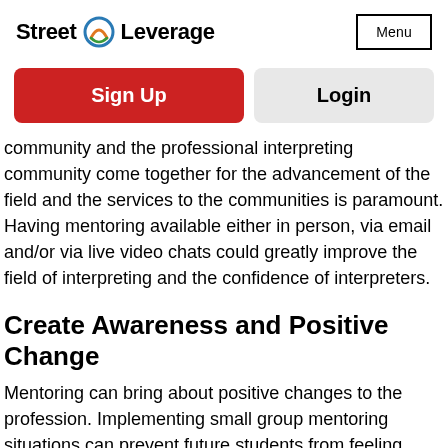Street Leverage | Menu
Sign Up
Login
community and the professional interpreting community come together for the advancement of the field and the services to the communities is paramount. Having mentoring available either in person, via email and/or via live video chats could greatly improve the field of interpreting and the confidence of interpreters.
Create Awareness and Positive Change
Mentoring can bring about positive changes to the profession. Implementing small group mentoring situations can prevent future students from feeling fearful of entering